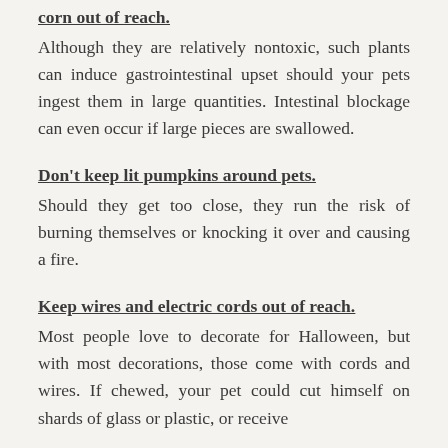corn out of reach.
Although they are relatively nontoxic, such plants can induce gastrointestinal upset should your pets ingest them in large quantities. Intestinal blockage can even occur if large pieces are swallowed.
Don't keep lit pumpkins around pets.
Should they get too close, they run the risk of burning themselves or knocking it over and causing a fire.
Keep wires and electric cords out of reach.
Most people love to decorate for Halloween, but with most decorations, those come with cords and wires. If chewed, your pet could cut himself on shards of glass or plastic, or receive